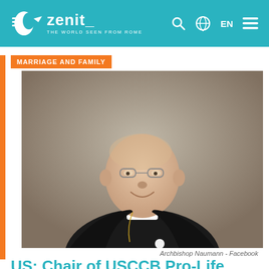zenit_ THE WORLD SEEN FROM ROME
MARRIAGE AND FAMILY
[Figure (photo): Portrait photo of Archbishop Naumann, an older man in black clerical attire with a white collar and pectoral cross, smiling slightly, against a neutral gray background.]
Archbishop Naumann - Facebook
US: Chair of USCCB Pro-Life